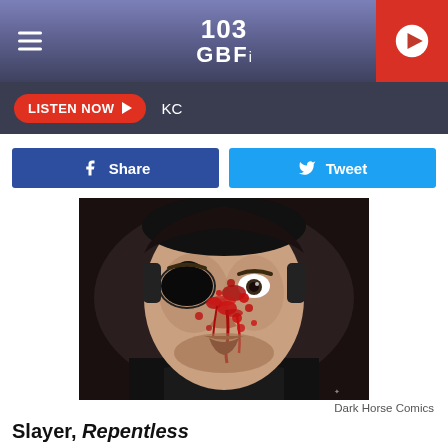103 GBF
LISTEN NOW  KC
Share  Tweet
[Figure (illustration): Dark, painted illustration of a male character with an eye patch, face covered in blood and wounds, stern expression, dark jacket. Dark Horse Comics artwork.]
Dark Horse Comics
Slayer, Repentless
Inspired by the music video trio from Slayer's final album, Repentless, the narrative of the comic book of the same